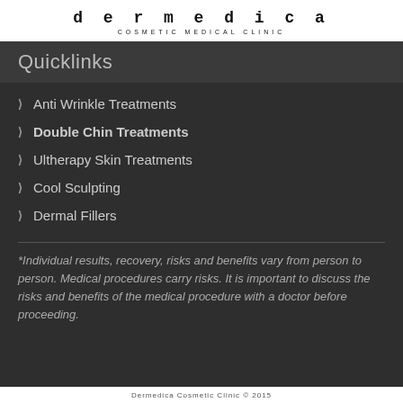dermedica COSMETIC MEDICAL CLINIC
Quicklinks
Anti Wrinkle Treatments
Double Chin Treatments
Ultherapy Skin Treatments
Cool Sculpting
Dermal Fillers
*Individual results, recovery, risks and benefits vary from person to person. Medical procedures carry risks. It is important to discuss the risks and benefits of the medical procedure with a doctor before proceeding.
Dermedica Cosmetic Clinic © 2015